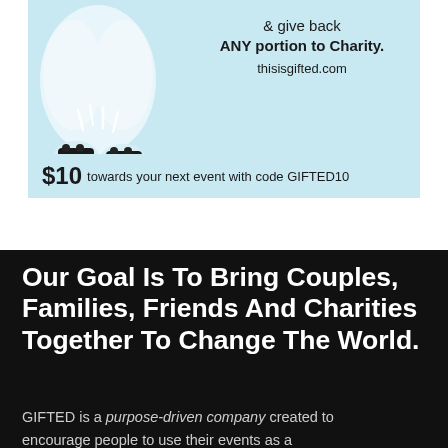[Figure (illustration): Advertisement banner with light blue background showing dog paws/feet with black accessories at bottom left, text on right reading 'give back ANY portion to Charity.' and 'thisisgifted.com', with promo text '$10 towards your next event with code GIFTED10']
Our Goal Is To Bring Couples, Families, Friends And Charities Together To Change The World.
GIFTED is a purpose-driven company created to encourage people to use their events as a